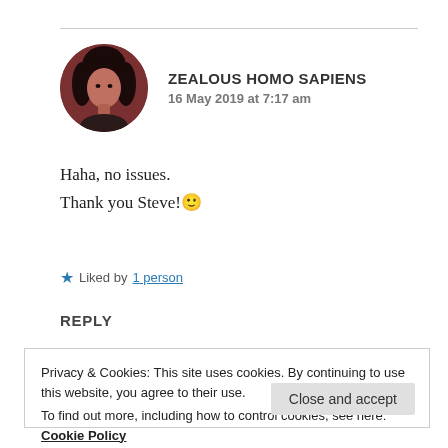[Figure (photo): Circular avatar photo of a person with dark hair against a reddish-brown background]
ZEALOUS HOMO SAPIENS
16 May 2019 at 7:17 am
Haha, no issues.
Thank you Steve! 🙂
★ Liked by 1 person
REPLY
Privacy & Cookies: This site uses cookies. By continuing to use this website, you agree to their use.
To find out more, including how to control cookies, see here: Cookie Policy